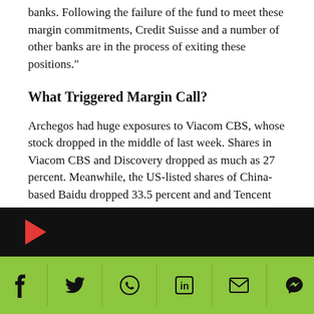banks. Following the failure of the fund to meet these margin commitments, Credit Suisse and a number of other banks are in the process of exiting these positions."
What Triggered Margin Call?
Archegos had huge exposures to Viacom CBS, whose stock dropped in the middle of last week. Shares in Viacom CBS and Discovery dropped as much as 27 percent. Meanwhile, the US-listed shares of China-based Baidu dropped 33.5 percent and and Tencent Music fell 48.5 percent. This led to a huge decline in the value of assets in Archegos' margin account, triggering the margin call.
[Figure (other): Video player bar with black background and red play button]
[Figure (other): Social sharing bar with green background containing icons for Facebook, Twitter, WhatsApp, LinkedIn, Email, and Messenger]